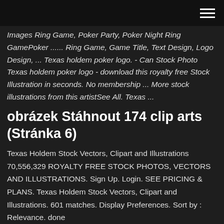[hamburger menu icon]
Images Ring Game, Poker Party, Poker Night Ring GamePoker ...... Ring Game, Game Title, Text Design, Logo Design, ... Texas holdem poker logo. - Can Stock Photo Texas holdem poker logo - download this royalty free Stock Illustration in seconds. No membership ... More stock illustrations from this artistSee All. Texas ...
obrázek Stáhnout 174 clip arts (Stránka 6)
Texas Holdem Stock Vectors, Clipart and Illustrations 70,556,329 ROYALTY FREE STOCK PHOTOS, VECTORS AND ILLUSTRATIONS. Sign Up. Login. SEE PRICING & PLANS. Texas Holdem Stock Vectors, Clipart and Illustrations. 601 matches. Display Preferences. Sort by : Relevance. done